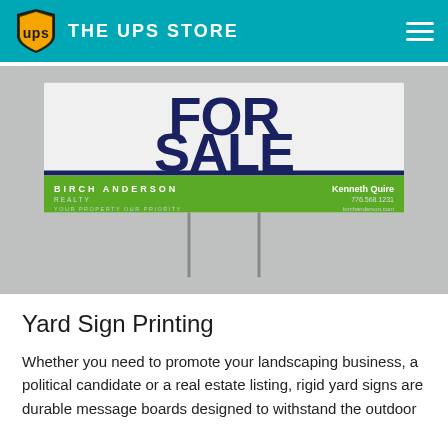THE UPS STORE
[Figure (photo): A yard sign displayed on a lawn stake. The sign has a white upper portion with large bold dark navy text reading FOR SALE, and a green lower band with white text reading BIRCH ANDERSON REALTY, YOUR PROPERTY OUR PRIORITY, Kenneth Quire, 776.568.1231, birchanderson.com]
Yard Sign Printing
Whether you need to promote your landscaping business, a political candidate or a real estate listing, rigid yard signs are durable message boards designed to withstand the outdoor...